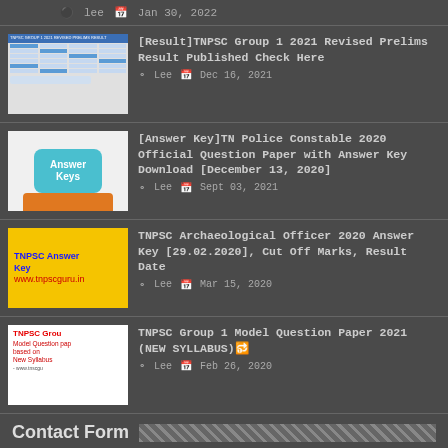lee  Jan 30, 2022
[Result]TNPSC Group 1 2021 Revised Prelims Result Published Check Here
Lee  Dec 16, 2021
[Answer Key]TN Police Constable 2020 Official Question Paper with Answer Key Download [December 13, 2020]
Lee  Sept 03, 2021
TNPSC Archaeological Officer 2020 Answer Key [29.02.2020], Cut Off Marks, Result Date
Lee  Mar 15, 2020
TNPSC Group 1 Model Question Paper 2021 (NEW SYLLABUS)🔁
Lee  Feb 26, 2020
Contact Form